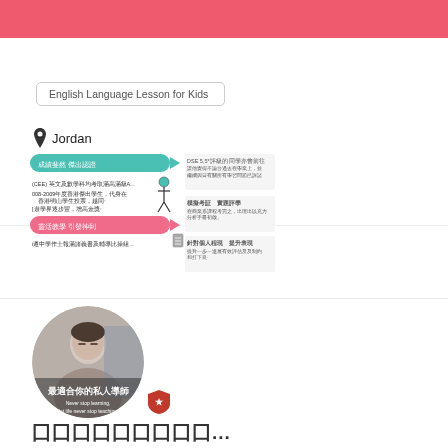University of Hong Kong (Bs.sc. Journalism and
English Language Lesson for Kids
Jordan
[Figure (infographic): Chinese language infographic showing educational milestones and achievements with teal/pink banner headers and a stick figure icon]
[Figure (photo): Circular profile photo of a woman with eyes closed, with Chinese text overlay '最適合你的私人導師' and English text 'Never stop learning, let life never stop teaching', with a red crest/shield icon below]
囗囗囗囗囗囗囗囗囗...